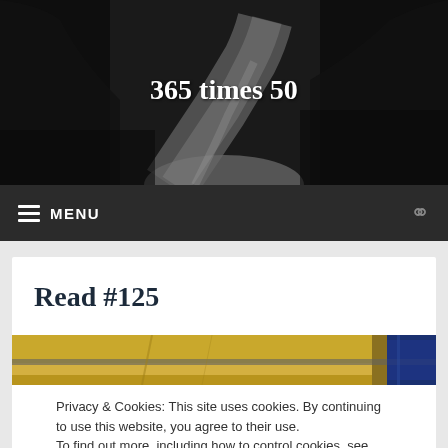[Figure (photo): Black and white photo of a winding road through trees, used as website header background]
365 times 50
≡ MENU
Read #125
[Figure (photo): Close-up photo of book spines with gold and blue covers]
Privacy & Cookies: This site uses cookies. By continuing to use this website, you agree to their use.
To find out more, including how to control cookies, see here: Cookie Policy
Close and accept
[Figure (photo): Partial view of book cover with blue background at bottom of page]